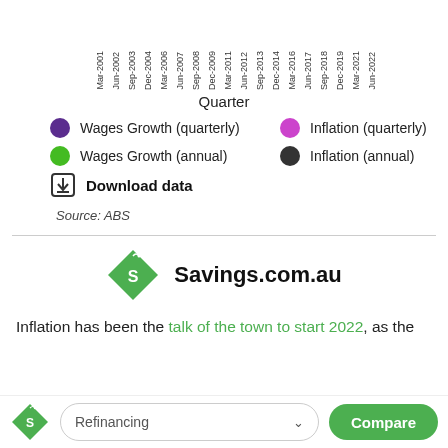[Figure (other): Rotated x-axis labels showing quarterly date labels from Mar-2001 to Jun-2022]
Quarter
[Figure (infographic): Legend with four colored circles: purple for Wages Growth (quarterly), magenta/pink for Inflation (quarterly), green for Wages Growth (annual), dark/black for Inflation (annual)]
[Figure (other): Download data button with download icon]
Source: ABS
[Figure (logo): Savings.com.au logo: green diamond shape with S and sprout icon, next to bold text Savings.com.au]
Inflation has been the talk of the town to start 2022, as the
Refinancing  Compare